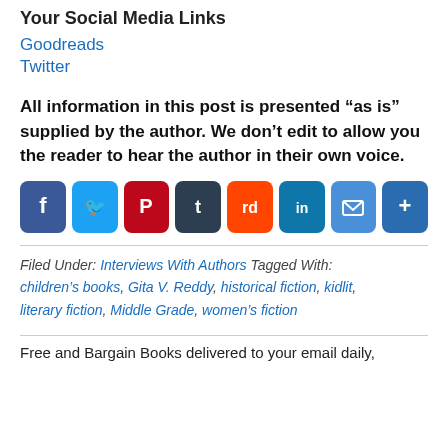Your Social Media Links
Goodreads
Twitter
All information in this post is presented “as is” supplied by the author. We don’t edit to allow you the reader to hear the author in their own voice.
[Figure (infographic): Row of social media share buttons: Facebook (blue), Twitter (light blue), Pinterest (red), Tumblr (dark), Reddit (orange-red), LinkedIn (teal-blue), Email (blue), Share/More (blue)]
Filed Under: Interviews With Authors Tagged With: children’s books, Gita V. Reddy, historical fiction, kidlit, literary fiction, Middle Grade, women’s fiction
Free and Bargain Books delivered to your email daily,